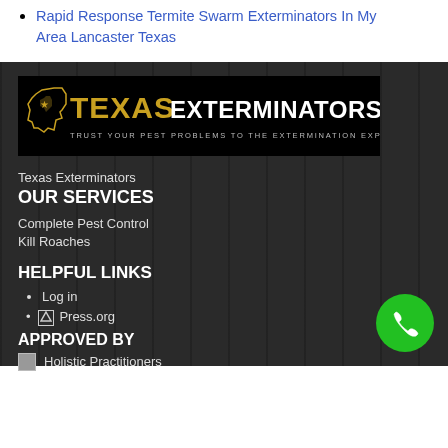Rapid Response Termite Swarm Exterminators In My Area Lancaster Texas
[Figure (logo): Texas Exterminators logo — black banner with gold Texas state outline icon, gold 'TEXAS' text and white 'EXTERMINATORS' text, tagline 'TRUST YOUR PEST PROBLEMS TO THE EXTERMINATION EXPERTS']
Texas Exterminators
OUR SERVICES
Complete Pest Control
Kill Roaches
HELPFUL LINKS
Log in
WordPress.org
APPROVED BY
Holistic Practitioners